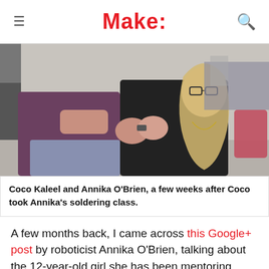Make:
[Figure (photo): Two women working together; one in a purple DreamWorks t-shirt and denim shorts, the other with long blonde hair wearing a black outfit and glasses, handling a small electronic component in what appears to be a workshop or classroom setting.]
Coco Kaleel and Annika O'Brien, a few weeks after Coco took Annika's soldering class.
A few months back, I came across this Google+ post by roboticist Annika O'Brien, talking about the 12-year-old girl she has been mentoring, named Coco Kaleel. I was interested to hear more about their mentor-